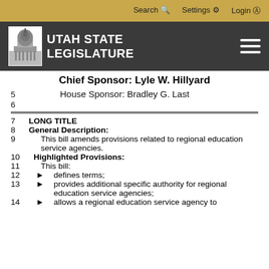Search  Settings  Login
[Figure (logo): Utah State Legislature logo with capitol building and text UTAH STATE LEGISLATURE]
Chief Sponsor: Lyle W. Hillyard
5
House Sponsor: Bradley G. Last
6
7   LONG TITLE
8   General Description:
9        This bill amends provisions related to regional education service agencies.
10   Highlighted Provisions:
11        This bill:
12   ►   defines terms;
13   ►   provides additional specific authority for regional education service agencies;
14   ►   allows a regional education service agency to participate in the Utah Retirement...